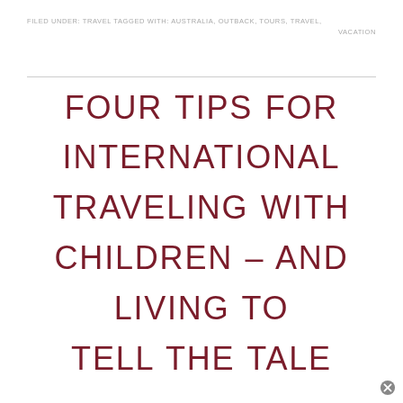FILED UNDER: TRAVEL TAGGED WITH: AUSTRALIA, OUTBACK, TOURS, TRAVEL, VACATION
FOUR TIPS FOR INTERNATIONAL TRAVELING WITH CHILDREN – AND LIVING TO TELL THE TALE